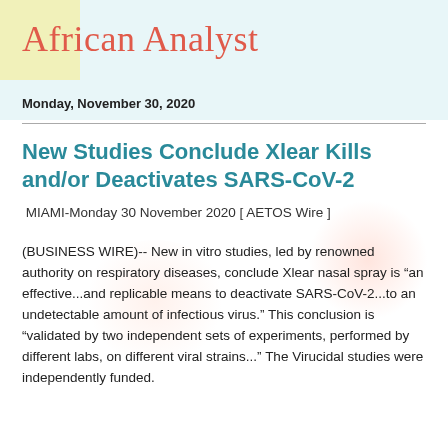African Analyst
Monday, November 30, 2020
New Studies Conclude Xlear Kills and/or Deactivates SARS-CoV-2
MIAMI-Monday 30 November 2020 [ AETOS Wire ]
(BUSINESS WIRE)-- New in vitro studies, led by renowned authority on respiratory diseases, conclude Xlear nasal spray is “an effective...and replicable means to deactivate SARS-CoV-2...to an undetectable amount of infectious virus.” This conclusion is “validated by two independent sets of experiments, performed by different labs, on different viral strains...” The Virucidal studies were independently funded.